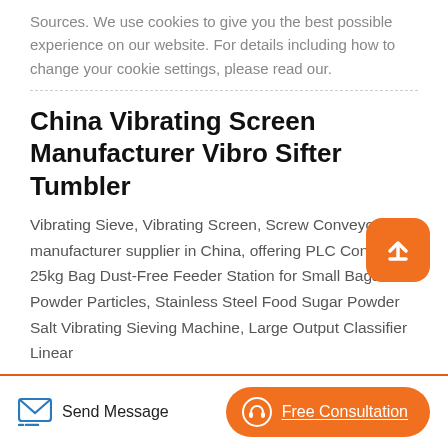Sources. We use cookies to give you the best possible experience on our website. For details including how to change your cookie settings, please read our.
China Vibrating Screen Manufacturer Vibro Sifter Tumbler
Vibrating Sieve, Vibrating Screen, Screw Conveyor manufacturer supplier in China, offering PLC Control 25kg Bag Dust-Free Feeder Station for Small Bags Powder Particles, Stainless Steel Food Sugar Powder Salt Vibrating Sieving Machine, Large Output Classifier Linear
Send Message   Free Consultation